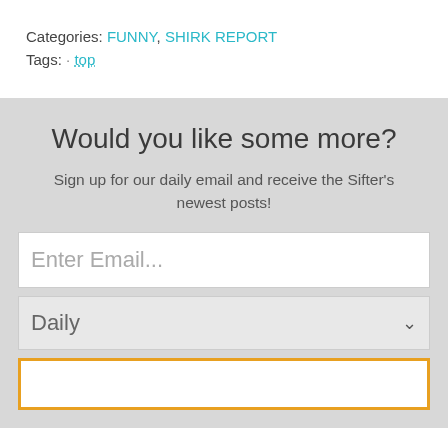Categories: FUNNY, SHIRK REPORT
Tags: · top
Would you like some more?
Sign up for our daily email and receive the Sifter's newest posts!
Enter Email...
Daily